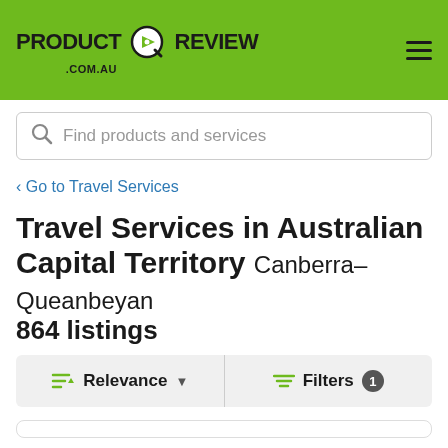PRODUCT REVIEW .COM.AU
Find products and services
‹ Go to Travel Services
Travel Services in Australian Capital Territory Canberra–Queanbeyan
864 listings
Relevance  Filters 1